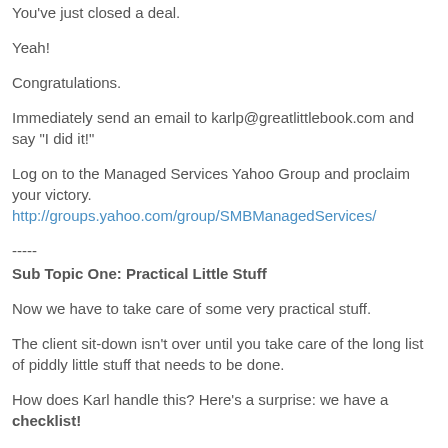You've just closed a deal.
Yeah!
Congratulations.
Immediately send an email to karlp@greatlittlebook.com and say "I did it!"
Log on to the Managed Services Yahoo Group and proclaim your victory.
http://groups.yahoo.com/group/SMBManagedServices/
-----
Sub Topic One: Practical Little Stuff
Now we have to take care of some very practical stuff.
The client sit-down isn't over until you take care of the long list of piddly little stuff that needs to be done.
How does Karl handle this? Here's a surprise: we have a checklist!